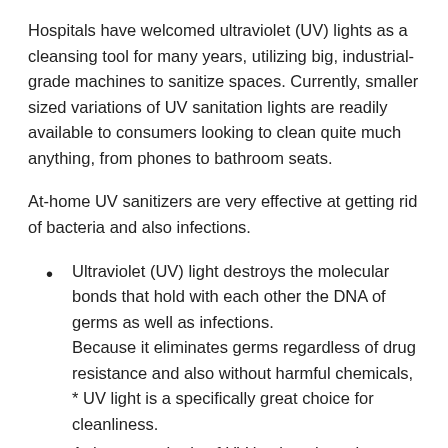Hospitals have welcomed ultraviolet (UV) lights as a cleansing tool for many years, utilizing big, industrial-grade machines to sanitize spaces. Currently, smaller sized variations of UV sanitation lights are readily available to consumers looking to clean quite much anything, from phones to bathroom seats.
At-home UV sanitizers are very effective at getting rid of bacteria and also infections.
Ultraviolet (UV) light destroys the molecular bonds that hold with each other the DNA of germs as well as infections.
Because it eliminates germs regardless of drug resistance and also without harmful chemicals, * UV light is a specifically great choice for cleanliness.
At-home methods of UV hygiene have been verified